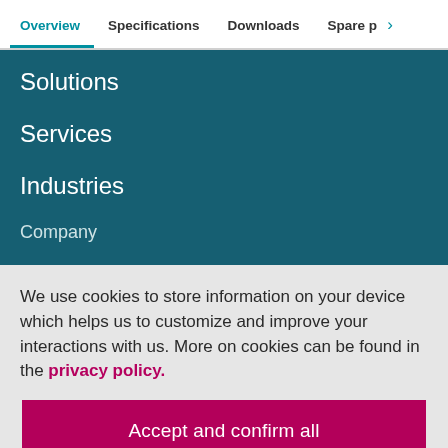Overview | Specifications | Downloads | Spare p >
Solutions
Services
Industries
Company
We use cookies to store information on your device which helps us to customize and improve your interactions with us. More on cookies can be found in the privacy policy.
Accept and confirm all
Adapt settings
Leave us a message